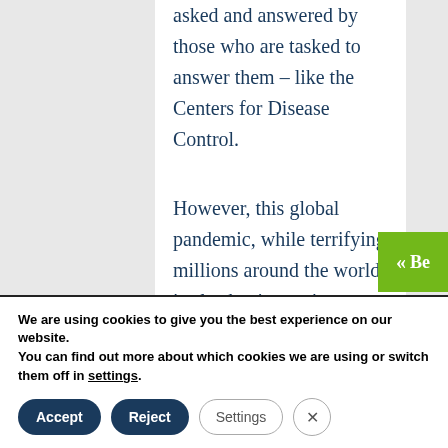asked and answered by those who are tasked to answer them – like the Centers for Disease Control.
However, this global pandemic, while terrifying millions around the world, is also having an impact on global financial markets and likely will impact the U.S. Real Estate market
We are using cookies to give you the best experience on our website.
You can find out more about which cookies we are using or switch them off in settings.